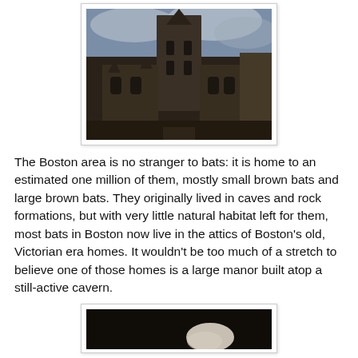[Figure (photo): Photograph of a large Gothic-style stone church or cathedral with a tall central tower, arched windows, and pointed spires against a cloudy sky.]
The Boston area is no stranger to bats: it is home to an estimated one million of them, mostly small brown bats and large brown bats. They originally lived in caves and rock formations, but with very little natural habitat left for them, most bats in Boston now live in the attics of Boston's old, Victorian era homes. It wouldn't be too much of a stretch to believe one of those homes is a large manor built atop a still-active cavern.
[Figure (photo): Partial photograph showing a dark image, partially visible at bottom of page.]